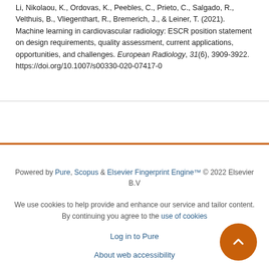Li, Nikolaou, K., Ordovas, K., Peebles, C., Prieto, C., Salgado, R., Velthuis, B., Vliegenthart, R., Bremerich, J., & Leiner, T. (2021). Machine learning in cardiovascular radiology: ESCR position statement on design requirements, quality assessment, current applications, opportunities, and challenges. European Radiology, 31(6), 3909-3922. https://doi.org/10.1007/s00330-020-07417-0
Powered by Pure, Scopus & Elsevier Fingerprint Engine™ © 2022 Elsevier B.V
We use cookies to help provide and enhance our service and tailor content. By continuing you agree to the use of cookies
Log in to Pure
About web accessibility